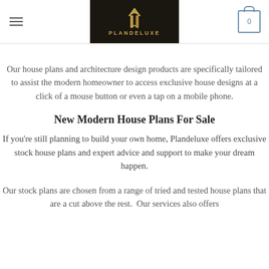PLANDELUXE
Our house plans and architecture design products are specifically tailored to assist the modern homeowner to access exclusive house designs at a click of a mouse button or even a tap on a mobile phone.
New Modern House Plans For Sale
If you're still planning to build your own home, Plandeluxe offers exclusive stock house plans and expert advice and support to make your dream happen.
Our stock plans are chosen from a range of tried and tested house plans that are a cut above the rest. Our services also offers